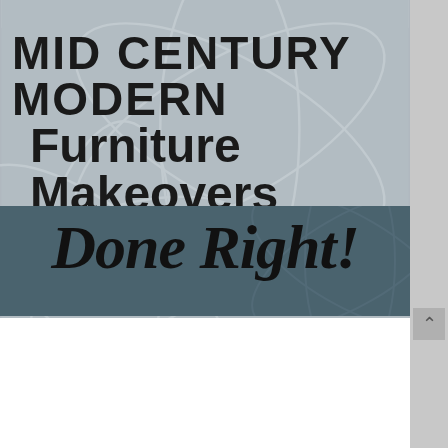MID CENTURY MODERN Furniture Makeovers Done Right!
[Figure (illustration): Illustration showing three mid-century modern furniture pieces: a molded plywood lounge chair (left), a low credenza/sideboard with two drawers (center), and an Eames-style shell armchair on wire base (right), all in dark teal/navy color on a light blue-gray background.]